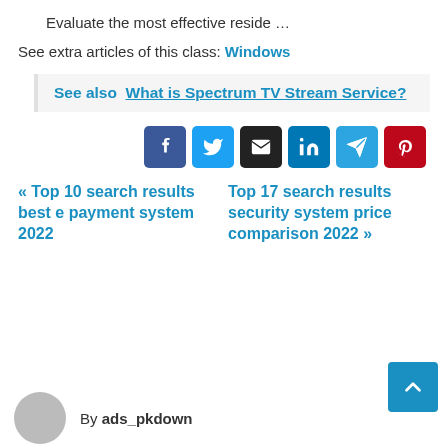Evaluate the most effective reside …
See extra articles of this class: Windows
See also  What is Spectrum TV Stream Service?
[Figure (other): Social share buttons: Facebook, Twitter, Email, LinkedIn, Telegram, Pinterest]
« Top 10 search results best e payment system 2022    Top 17 search results security system price comparison 2022 »
By ads_pkdown